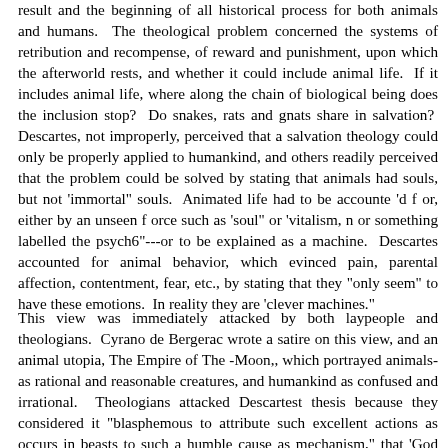result and the beginning of all historical process for both animals and humans.  The theological problem concerned the systems of retribution and recompense, of reward and punishment, upon which the afterworld rests, and whether it could include animal life.  If it includes animal life, where along the chain of biological being does the inclusion stop?  Do snakes, rats and gnats share in salvation?  Descartes, not improperly, perceived that a salvation theology could only be properly applied to humankind, and others readily perceived that the problem could be solved by stating that animals had souls, but not 'immortal" souls.  Animated life had to be accounte 'd f or, either by an unseen f orce such as 'soul" or 'vitalism, n or something labelled the psych6"---or to be explained as a machine.  Descartes accounted for animal behavior, which evinced pain, parental affection, contentment, fear, etc., by stating that they "only seem" to have these emotions.  In reality they are 'clever machines."
This view was immediately attacked by both laypeople and theologians.  Cyrano de Bergerac wrote a satire on this view, and an animal utopia, The Empire of The -Moon,, which portrayed animals-as rational and reasonable creatures, and humankind as confused and irrational.  Theologians attacked Descartes thesis because they considered it "blasphemous to attribute such excellent actions as occurs in beasts to such a humble cause as mechanism," that 'God would be deceiving us if beasts were machines." [19] Claude Bernard had a similar problem.  Cutting open the bodies of